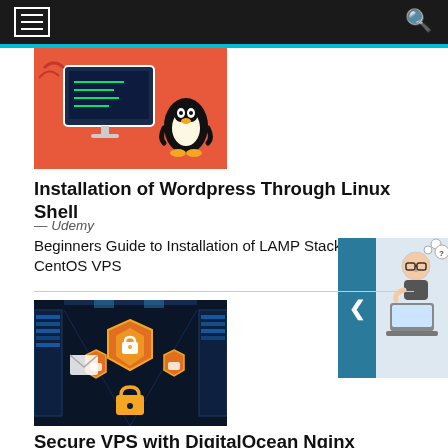Navigation bar with menu and search icons
[Figure (screenshot): Linux/WordPress tutorial thumbnail: orange background with Linux penguin and monitor showing terminal]
Installation of Wordpress Through Linux Shell
— Udemy
Beginners Guide to Installation of LAMP Stack on RHEL CentOS VPS
[Figure (illustration): Sidebar widget with teal tab showing left arrow and cartoon character thinking at a laptop]
[Figure (screenshot): Secure VPS thumbnail: dark server room background with security shield and lock icons]
Secure VPS with DigitalOcean Nginx Letsencrypt